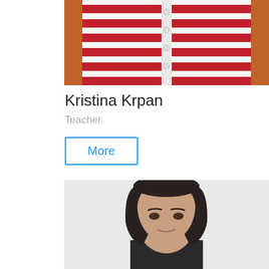[Figure (photo): Top portion of a person wearing a white and red/pink striped sweater, cropped at the chest, with orange/brown background on sides]
Kristina Krpan
Teacher
More
[Figure (photo): A young woman with long dark brown straight hair, smiling slightly, against a light gray/white wall background, wearing a dark top]